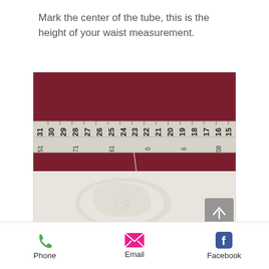Mark the center of the tube, this is the height of your waist measurement.
[Figure (photo): Photo of dark red/maroon fabric with a measuring tape laid across it showing measurements from about 15 to 31, and a white t-shirt piece visible below. A scroll-up arrow button is in the bottom right corner.]
Centre mark of t shirt tube
Phone   Email   Facebook